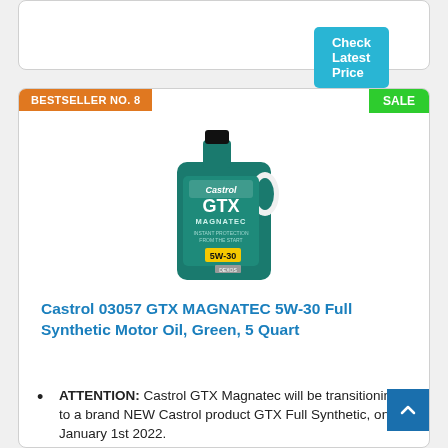[Figure (screenshot): Check Latest Price button in teal/blue on a white card]
BESTSELLER NO. 8
SALE
[Figure (photo): Castrol GTX Magnatec 5W-30 Full Synthetic Motor Oil green 5-quart bottle]
Castrol 03057 GTX MAGNATEC 5W-30 Full Synthetic Motor Oil, Green, 5 Quart
ATTENTION: Castrol GTX Magnatec will be transitioning to a brand NEW Castrol product GTX Full Synthetic, on January 1st 2022.
Dramatically reduce engine wear
Instantly bonds to engine on first start